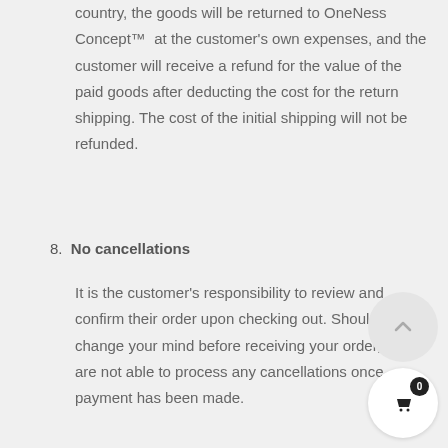country, the goods will be returned to OneNess Concept™ at the customer's own expenses, and the customer will receive a refund for the value of the paid goods after deducting the cost for the return shipping. The cost of the initial shipping will not be refunded.
8. No cancellations
It is the customer's responsibility to review and confirm their order upon checking out. Should you change your mind before receiving your order, we are not able to process any cancellations once payment has been made.